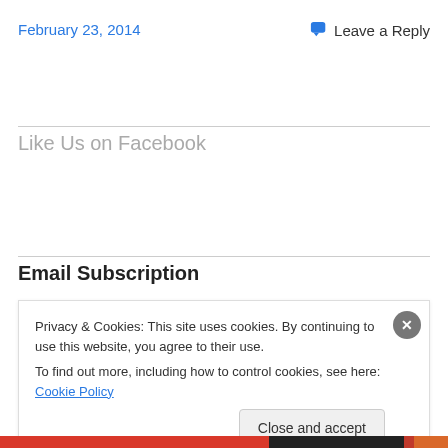February 23, 2014
Leave a Reply
Like Us on Facebook
Email Subscription
Privacy & Cookies: This site uses cookies. By continuing to use this website, you agree to their use. To find out more, including how to control cookies, see here: Cookie Policy
Close and accept